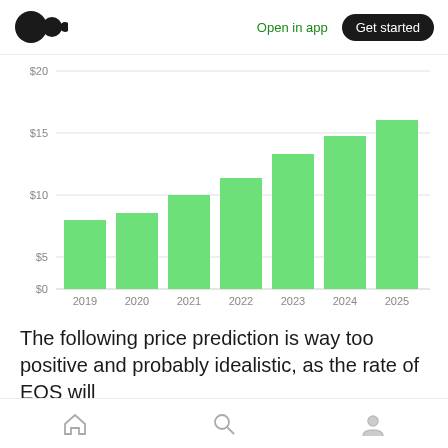Medium logo | Open in app | Get started
[Figure (bar-chart): EOS Price Prediction]
The following price prediction is way too positive and probably idealistic, as the rate of EOS will